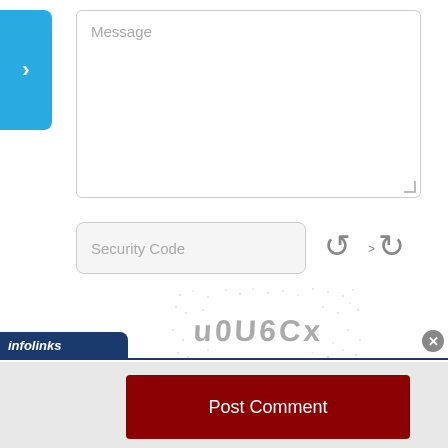[Figure (screenshot): Blue arrow/chevron button on left side]
Message
Security Code
[Figure (screenshot): CAPTCHA refresh icons and captcha image showing distorted text 'u0U6Cx' with dot noise pattern]
Post Comment
infolinks